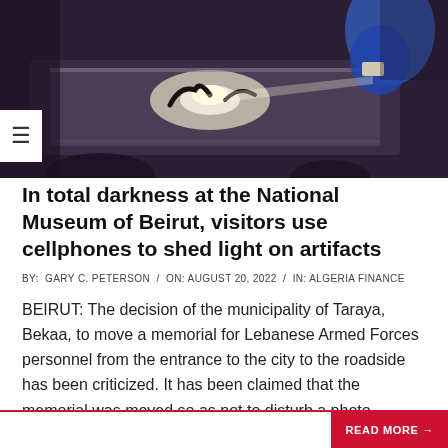[Figure (photo): Person illuminating a glass display case containing dark metal artifacts at a museum, captured from above in dim lighting with a blue-sleeved arm visible.]
In total darkness at the National Museum of Beirut, visitors use cellphones to shed light on artifacts
BY: GARY C. PETERSON / ON: AUGUST 20, 2022 / IN: ALGERIA FINANCE
BEIRUT: The decision of the municipality of Taraya, Bekaa, to move a memorial for Lebanese Armed Forces personnel from the entrance to the city to the roadside has been criticized. It has been claimed that the memorial was moved so as not to disturb a photo associated with a political
READ MORE →